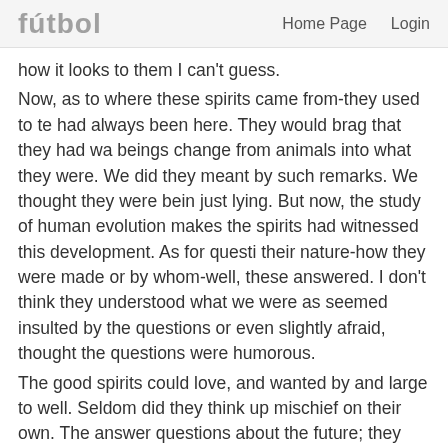fútbol   Home Page   Login
how it looks to them I can't guess. Now, as to where these spirits came from-they used to tell us they had always been here. They would brag that they had watched beings change from animals into what they were. We did not know what they meant by such remarks. We thought they were being fanciful or just lying. But now, the study of human evolution makes it seem that the spirits had witnessed this development. As for questions about their nature-how they were made or by whom-well, these were never answered. I don't think they understood what we were asking, or seemed insulted by the questions or even slightly afraid, or thought the questions were humorous. The good spirits could love, and wanted by and large to help humans well. Seldom did they think up mischief on their own. They could answer questions about the future; they would tell us what was happening in other, remote places; and for very powerful mediums, such as my sister and me, for those whom the good spirits really